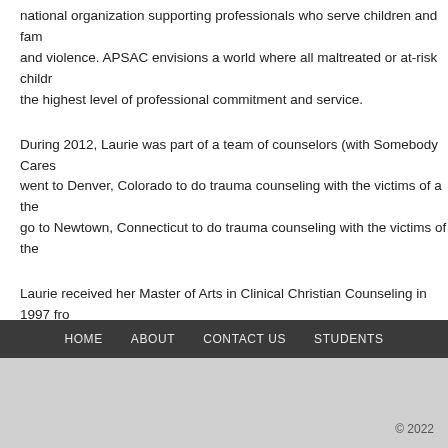national organization supporting professionals who serve children and families affected by abuse and violence. APSAC envisions a world where all maltreated or at-risk children receive the highest level of professional commitment and service.
During 2012, Laurie was part of a team of counselors (with Somebody Cares) went to Denver, Colorado to do trauma counseling with the victims of a the... go to Newtown, Connecticut to do trauma counseling with the victims of the...
Laurie received her Master of Arts in Clinical Christian Counseling in 1997 from... her PhD in Clinical Christian Counseling from Cheshire University UK in asso... is a licensed clinical pastoral counselor with the National Christian Counseli...
Laurie has written a book entitled “Woman – Why are you Weeping?” (2009)... recovery from abuse. She has also written training manuals on Child Protec... in Religious institutions: Detection-Intervention-Prevention (Written in Engli... Bogota, Columbia) and Guidance to Churches – Child Protection Training a...
HOME   ABOUT   CONTACT US   STUDENTS
© 2022